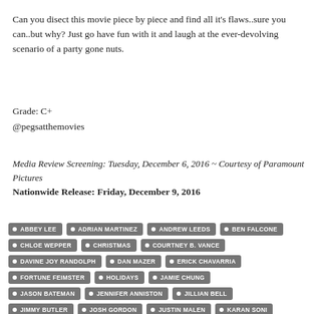Can you disect this movie piece by piece and find all it's flaws..sure you can..but why? Just go have fun with it and laugh at the ever-devolving scenario of a party gone nuts.
Grade: C+
@pegsatthemovies
Media Review Screening: Tuesday, December 6, 2016 ~ Courtesy of Paramount Pictures
Nationwide Release: Friday, December 9, 2016
ABBEY LEE
ADRIAN MARTINEZ
ANDREW LEEDS
BEN FALCONE
CHLOE WEPPER
CHRISTMAS
COURTNEY B. VANCE
DAVINE JOY RANDOLPH
DAN MAZER
ERICK CHAVARRIA
FORTUNE FEIMSTER
HOLIDAYS
JAMIE CHUNG
JASON BATEMAN
JENNIFER ANNISTON
JILLIAN BELL
JIMMY BUTLER
JOSH GORDON
JUSTIN MALEN
KARAN SONI